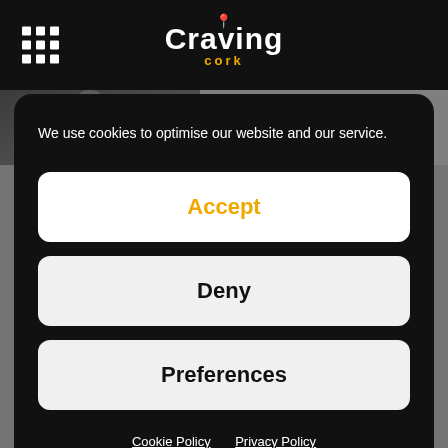[Figure (screenshot): Craving Cork website header with logo showing 'Craving' in white bold text and 'cork' in yellow below, plus a grid/menu icon on the left, on a black navigation bar]
[Figure (photo): Photo of a soul music singer performing, cropped view showing person singing into microphone]
Ireland's only soul music
We use cookies to optimise our website and our service.
Accept
Deny
Preferences
Cookie Policy   Privacy Policy